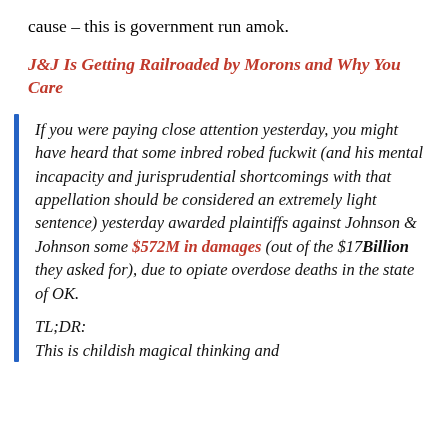cause – this is government run amok.
J&J Is Getting Railroaded by Morons and Why You Care
If you were paying close attention yesterday, you might have heard that some inbred robed fuckwit (and his mental incapacity and jurisprudential shortcomings with that appellation should be considered an extremely light sentence) yesterday awarded plaintiffs against Johnson & Johnson some $572M in damages (out of the $17Billion they asked for), due to opiate overdose deaths in the state of OK.
TL;DR:
This is childish magical thinking and